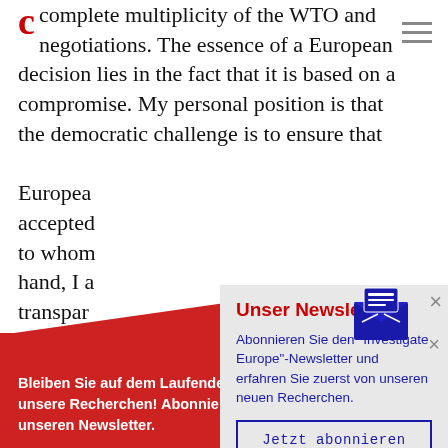complete multiplicity of the WTO and negotiations. The essence of a European decision lies in the fact that it is based on a compromise. My personal position is that the democratic challenge is to ensure that Europeans accepted to whom hand, I a transpar importa governm understa
Unser Newsletter
Abonnieren Sie den "Investigate Europe"-Newsletter und erfahren Sie zuerst von unseren neuen Recherchen.
Jetzt abonnieren
Bleiben Sie auf dem Laufenden über unsere Recherchen! Abonnieren Sie unseren Newsletter.